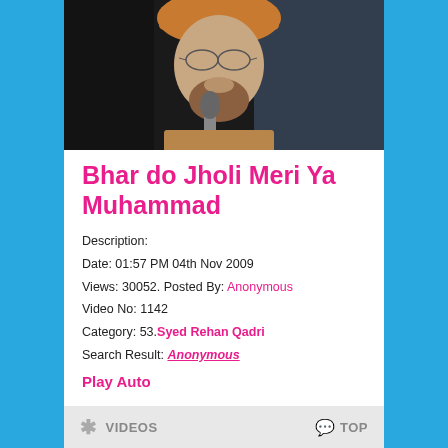[Figure (photo): A man wearing a turban and glasses speaking into a microphone, photographed in a dim setting.]
Bhar do Jholi Meri Ya Muhammad
Description:
Date: 01:57 PM 04th Nov 2009
Views: 30052. Posted By: Anonymous
Video No: 1142
Category: 53.Syed Rehan Qadri
Search Result: Anonymous
Play Auto
* VIDEOS   TOP